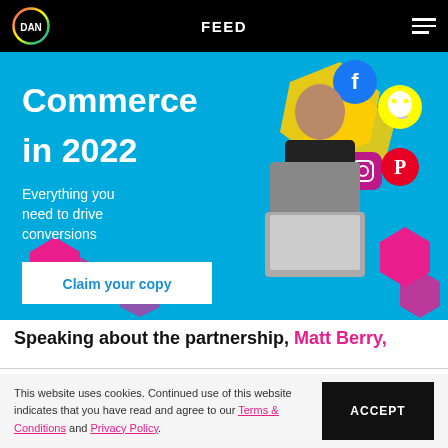DAN | FEED
[Figure (illustration): Blue banner advertisement for Social Commerce in 2022 guide. Large white bold text reads 'Commerce in 2022'. Subheading: 'Everything you need to drive conversions'. White button with blue text: 'Claim your copy'. Right side shows a woman in black top holding a laptop, surrounded by social media icons (Facebook, Snapchat, Instagram, Pinterest) and pink/yellow 3D hexagons on a blue and yellow background.]
Speaking about the partnership, Matt Berry,
This website uses cookies. Continued use of this website indicates that you have read and agree to our Terms & Conditions and Privacy Policy.